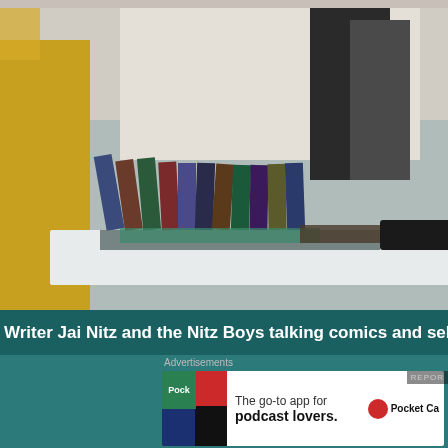[Figure (photo): Photo of a comic book convention booth — person in yellow shirt on left browsing comics on a white display table, camera on stand in background, person in light clothing on right side]
Writer Jai Nitz and the Nitz Boys talking comics and selling bo
[Figure (screenshot): Advertisement banner: Pocket Casts app — 'The go-to app for podcast lovers.' with Pocket Casts logo]
[Figure (photo): Second video/photo strip showing comic book con booth with KINCAID book display and people browsing]
[Figure (screenshot): WooCommerce advertisement: 'Turn your hobby into a business in 8 steps' with teal triangle and orange circle graphics]